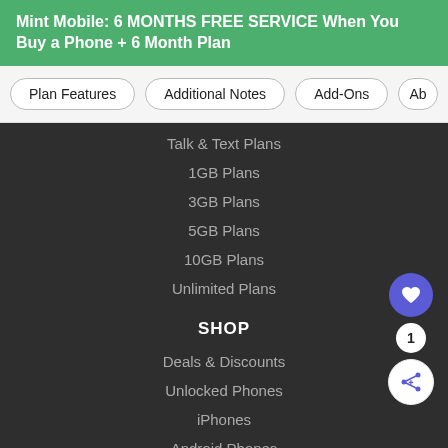Mint Mobile: 6 MONTHS FREE SERVICE When You Buy a Phone + 6 Month Plan
Plan Features
Additional Notes
Add-Ons
Ab...
Talk & Text Plans
1GB Plans
3GB Plans
5GB Plans
10GB Plans
Unlimited Plans
SHOP
Deals & Discounts
Unlocked Phones
iPhones
Android Phones
Google Pixel
OnePlus
Red Pocket $38 plan
visit site →
WHAT'S NEXT → Red Pocket 10GB Annua...